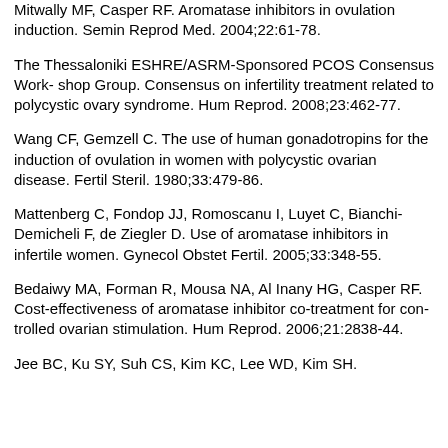Mitwally MF, Casper RF. Aromatase inhibitors in ovulation induction. Semin Reprod Med. 2004;22:61-78.
The Thessaloniki ESHRE/ASRM-Sponsored PCOS Consensus Work- shop Group. Consensus on infertility treatment related to polycystic ovary syndrome. Hum Reprod. 2008;23:462-77.
Wang CF, Gemzell C. The use of human gonadotropins for the induction of ovulation in women with polycystic ovarian disease. Fertil Steril. 1980;33:479-86.
Mattenberg C, Fondop JJ, Romoscanu I, Luyet C, Bianchi-Demicheli F, de Ziegler D. Use of aromatase inhibitors in infertile women. Gynecol Obstet Fertil. 2005;33:348-55.
Bedaiwy MA, Forman R, Mousa NA, Al Inany HG, Casper RF. Cost-effectiveness of aromatase inhibitor co-treatment for con-trolled ovarian stimulation. Hum Reprod. 2006;21:2838-44.
Jee BC, Ku SY, Suh CS, Kim KC, Lee WD, Kim SH.